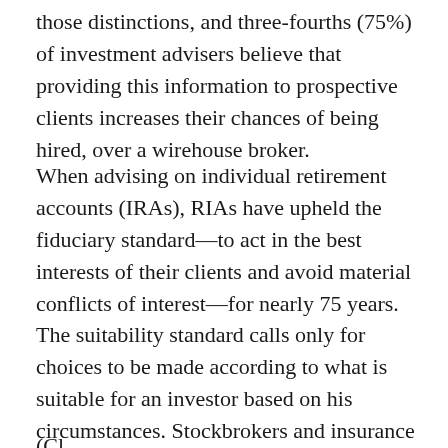those distinctions, and three-fourths (75%) of investment advisers believe that providing this information to prospective clients increases their chances of being hired, over a wirehouse broker.
When advising on individual retirement accounts (IRAs), RIAs have upheld the fiduciary standard—to act in the best interests of their clients and avoid material conflicts of interest—for nearly 75 years. The suitability standard calls only for choices to be made according to what is suitable for an investor based on his circumstances. Stockbrokers and insurance agents are currently required only to follow the suitability standard, but impending proposals from the Department of Labor (DOL) may lead to stricter regulations.
(Cl... [partial, cut off at bottom]